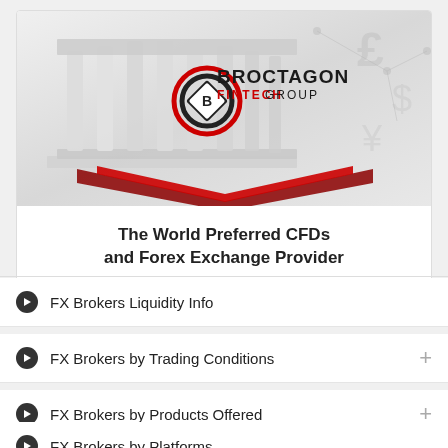[Figure (logo): Broctagon Fintech Group advertisement banner. Shows a classical building with columns in the background, Broctagon Fintech Group logo (interlocking diamond shapes in black and red), and text 'The World Preferred CFDs and Forex Exchange Provider'. Red chevron/arrow design at bottom of image.]
ADVERTISEMENT
FX Brokers Liquidity Info
FX Brokers by Trading Conditions
FX Brokers by Products Offered
FX Brokers by Platforms